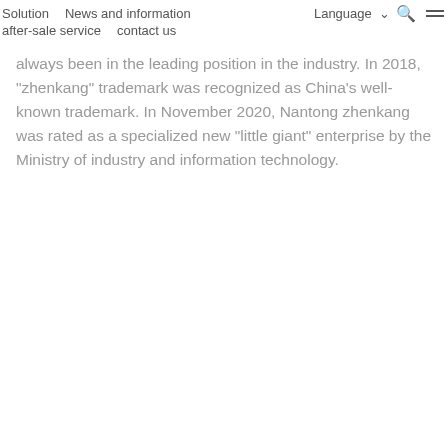Solution   News and information   Language ∨   🔍   ≡
after-sale service   contact us
always been in the leading position in the industry. In 2018, "zhenkang" trademark was recognized as China's well-known trademark. In November 2020, Nantong zhenkang was rated as a specialized new "little giant" enterprise by the Ministry of industry and information technology.